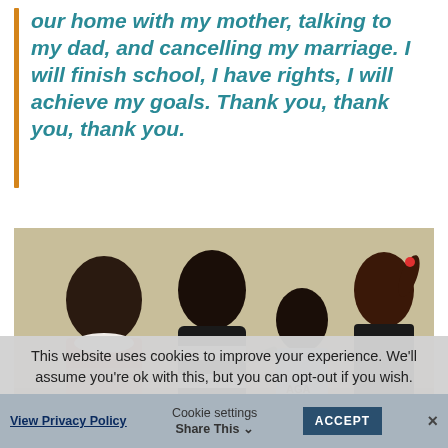our home with my mother, talking to my dad, and cancelling my marriage. I will finish school, I have rights, I will achieve my goals. Thank you, thank you, thank you.
[Figure (photo): Four young women/girls standing and talking in a room with beige walls. One girl on the left has braids and a pink jacket, one in the center wears a striped black and white top and is speaking, one in the background has curly hair and wears a shirt with 'AGA' text, and one on the right has dark hair in a ponytail and wears a black top.]
This website uses cookies to improve your experience. We'll assume you're ok with this, but you can opt-out if you wish.
View Privacy Policy   Cookie settings   ACCEPT   Share This   ×